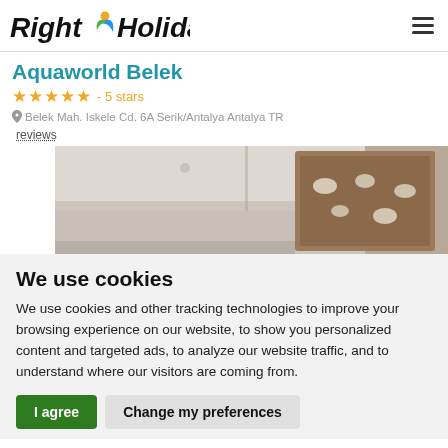Right Holidays
Aquaworld Belek
★★★★★ - 5 stars
Belek Mah. Iskele Cd. 6A Serik/Antalya Antalya TR
reviews
[Figure (photo): Interior photo of hotel room/area with ceiling and decorative wall panels]
We use cookies
We use cookies and other tracking technologies to improve your browsing experience on our website, to show you personalized content and targeted ads, to analyze our website traffic, and to understand where our visitors are coming from.
I agree   Change my preferences